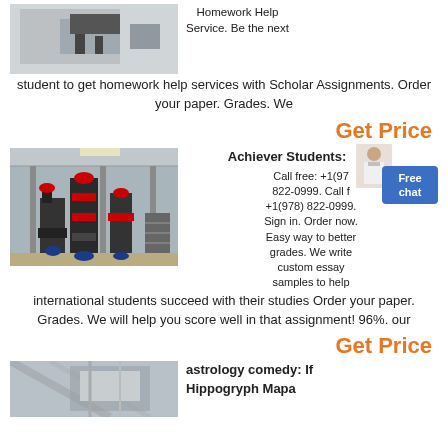[Figure (photo): Partial view of a photo showing a dark object/equipment on a white background, top of page]
Homework Help Service. Be the next student to get homework help services with Scholar Assignments. Order your paper. Grades. We
Get Price
[Figure (photo): Industrial machinery in a large factory/warehouse setting, multiple vertical machines with red accents]
Achiever Students:
[Figure (photo): Small illustration of a person (woman) and a Free chat badge]
Call free: +1(978) 822-0999. Call free +1(978) 822-0999. Sign in. Order now. Easy way to better grades. We write custom essay samples to help international students succeed with their studies Order your paper. Grades. We will help you score well in that assignment! 96%. our
Get Price
[Figure (photo): Partial photo of structural/architectural elements, top of image cut off]
astrology comedy: If Hippogryph Mapa